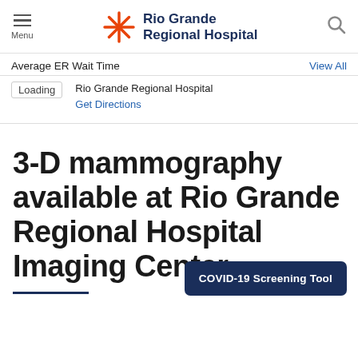[Figure (logo): Rio Grande Regional Hospital logo with orange starburst icon and dark navy text]
Average ER Wait Time
View All
Loading   Rio Grande Regional Hospital
Get Directions
3-D mammography available at Rio Grande Regional Hospital Imaging Center
COVID-19 Screening Tool